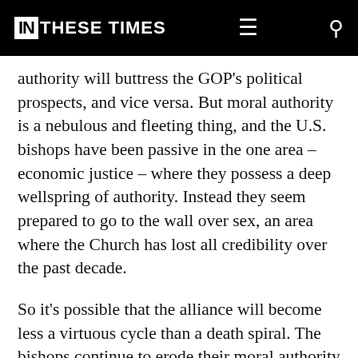IN THESE TIMES
authority will buttress the GOP's political prospects, and vice versa. But moral authority is a nebulous and fleeting thing, and the U.S. bishops have been passive in the one area – economic justice – where they possess a deep wellspring of authority. Instead they seem prepared to go to the wall over sex, an area where the Church has lost all credibility over the past decade.
So it's possible that the alliance will become less a virtuous cycle than a death spiral. The bishops continue to erode their moral authority with their silence on economic issues, while the GOP's resistance to gay rights, in deference to its religiously devout voters, becomes an increasingly extreme